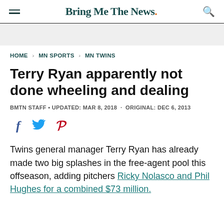Bring Me The News.
HOME > MN SPORTS > MN TWINS
Terry Ryan apparently not done wheeling and dealing
BMTN STAFF • UPDATED: MAR 8, 2018 · ORIGINAL: DEC 6, 2013
[Figure (infographic): Social media share icons: Facebook (f), Twitter bird, Pinterest (P)]
Twins general manager Terry Ryan has already made two big splashes in the free-agent pool this offseason, adding pitchers Ricky Nolasco and Phil Hughes for a combined $73 million.